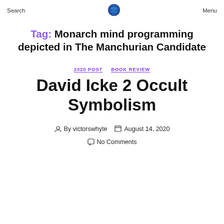Search  Menu
Tag: Monarch mind programming depicted in The Manchurian Candidate
2020 POST  BOOK REVIEW
David Icke 2 Occult Symbolism
By victorswhyte  August 14, 2020
No Comments